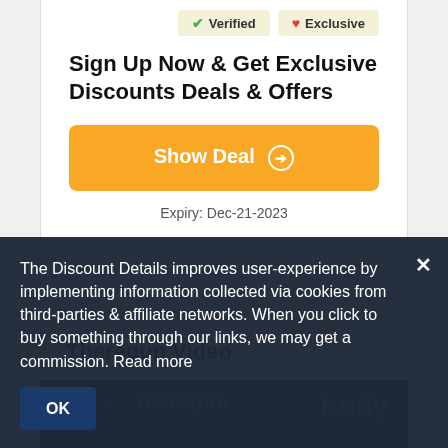Verified   Exclusive
Sign Up Now & Get Exclusive Discounts Deals & Offers
Show Deal ➔
Expiry: Dec-21-2023
Theragun Video
The Discount Details improves user-experience by implementing information collected via cookies from third-parties & affiliate networks. When you click to buy something through our links, we may get a commission. Read more
OK